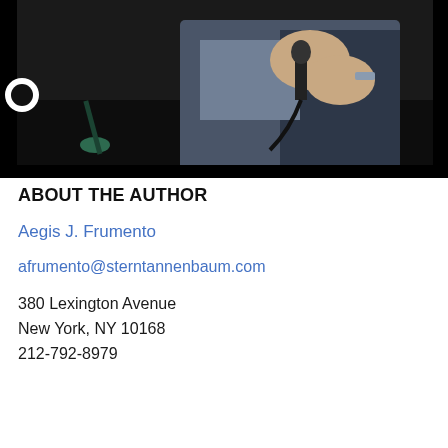[Figure (photo): Photo of a person holding a microphone at what appears to be a speaking event or conference, dark background]
ABOUT THE AUTHOR
Aegis J. Frumento
afrumento@sterntannenbaum.com
380 Lexington Avenue
New York, NY 10168
212-792-8979